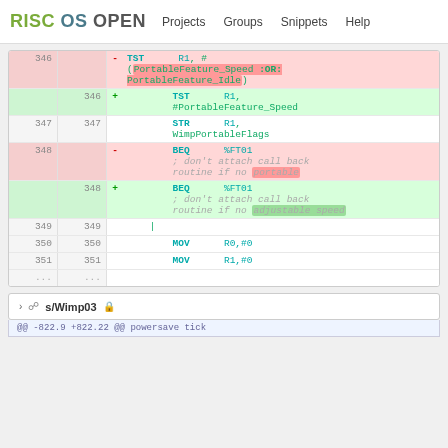RISC OS OPEN   Projects   Groups   Snippets   Help
| old | new | sign | code |
| --- | --- | --- | --- |
| 346 |  | – | TST      R1, #(PortableFeature_Speed :OR: PortableFeature_Idle) |
|  | 346 | + |         TST      R1, #PortableFeature_Speed |
| 347 | 347 |  |         STR      R1, WimpPortableFlags |
| 348 |  | – |         BEQ      %FT01
; don't attach call back routine if no portable |
|  | 348 | + |         BEQ      %FT01
; don't attach call back routine if no adjustable speed |
| 349 | 349 |  |     | |
| 350 | 350 |  |         MOV      R0,#0 |
| 351 | 351 |  |         MOV      R1,#0 |
| ... | ... |  |  |
s/Wimp03
@@ -822.9 +822.22 @@ powersave tick